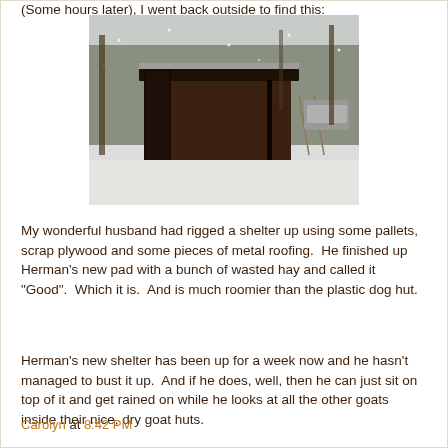(Some hours later), I went back outside to find this:
[Figure (photo): A snow-covered outdoor scene showing a makeshift shelter built from pallets, scrap plywood, and metal roofing. The shelter is dark brown/black in color, sitting on snow-covered ground with trees and a vehicle visible in the background.]
My wonderful husband had rigged a shelter up using some pallets, scrap plywood and some pieces of metal roofing.  He finished up Herman's new pad with a bunch of wasted hay and called it "Good".  Which it is.  And is much roomier than the plastic dog hut.
Herman's new shelter has been up for a week now and he hasn't managed to bust it up.  And if he does, well, then he can just sit on top of it and get rained on while he looks at all the other goats inside their nice, dry goat huts.
Carolyn at 8:42 PM